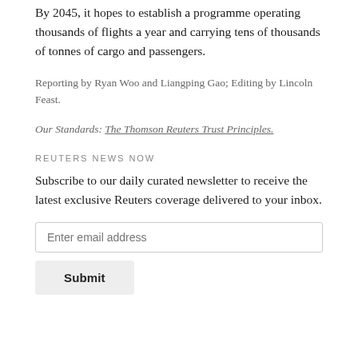By 2045, it hopes to establish a programme operating thousands of flights a year and carrying tens of thousands of tonnes of cargo and passengers.
Reporting by Ryan Woo and Liangping Gao; Editing by Lincoln Feast.
Our Standards: The Thomson Reuters Trust Principles.
REUTERS NEWS NOW
Subscribe to our daily curated newsletter to receive the latest exclusive Reuters coverage delivered to your inbox.
Enter email address
Submit